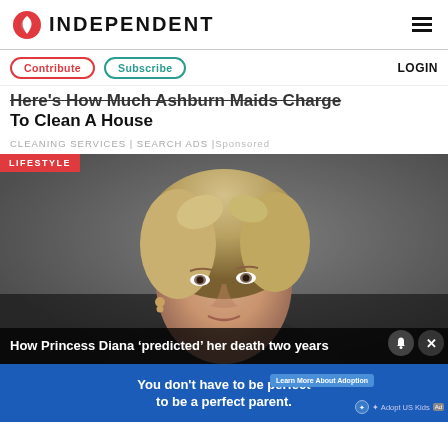INDEPENDENT
Contribute | Subscribe | LOGIN
Here's How Much Ashburn Maids Charge To Clean A House
CLEANING SERVICES | SEARCH ADS | Sponsored
[Figure (photo): Photo of Princess Diana, blonde woman looking to the side, with LIFESTYLE tag overlay and caption bar reading: How Princess Diana 'predicted' her death two years]
How Princess Diana 'predicted' her death two years
You don't have to be perfect to be a perfect parent. | Learn More About Adoption | Adopt US Kids